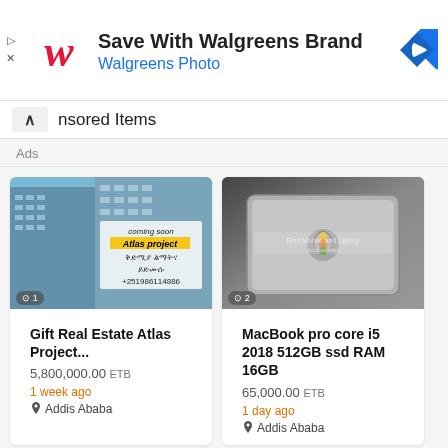[Figure (screenshot): Walgreens brand advertisement banner with Walgreens logo, text 'Save With Walgreens Brand' and 'Walgreens Photo', and a blue navigation arrow icon]
Sponsored Items
Ads
[Figure (photo): Photo of a building (Atlas project real estate) with overlay text: coming soon, Atlas project, Amharic text, +251986114886]
Gift Real Estate Atlas Project...
5,800,000.00 ETB
1 week ago
Addis Ababa
[Figure (photo): Photo of Apple MacBook pro laptop from behind showing Apple logo]
MacBook pro core i5 2018 512GB ssd RAM 16GB
65,000.00 ETB
1 day ago
Addis Ababa